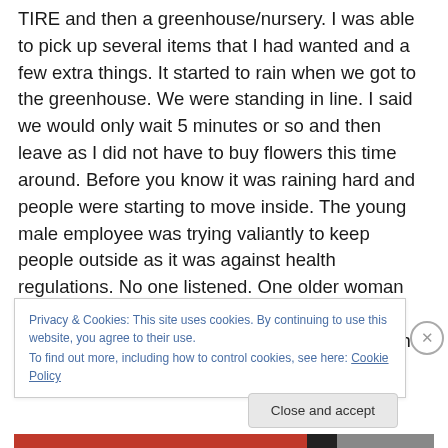TIRE and then a greenhouse/nursery. I was able to pick up several items that I had wanted and a few extra things. It started to rain when we got to the greenhouse. We were standing in line. I said we would only wait 5 minutes or so and then leave as I did not have to buy flowers this time around. Before you know it was raining hard and people were starting to move inside. The young male employee was trying valiantly to keep people outside as it was against health regulations. No one listened. One older woman did not want to stand outside and basically just “pushed” her way into a corner and then when her
Privacy & Cookies: This site uses cookies. By continuing to use this website, you agree to their use.
To find out more, including how to control cookies, see here: Cookie Policy
Close and accept